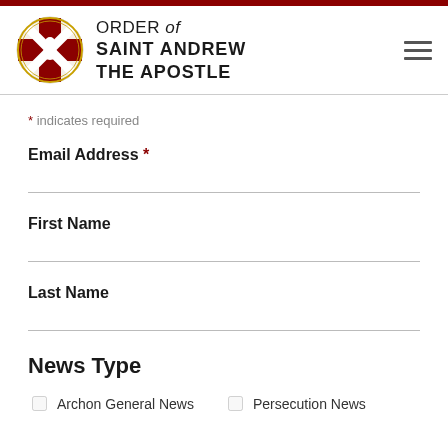ORDER of SAINT ANDREW THE APOSTLE
* indicates required
Email Address *
First Name
Last Name
News Type
Archon General News
Persecution News